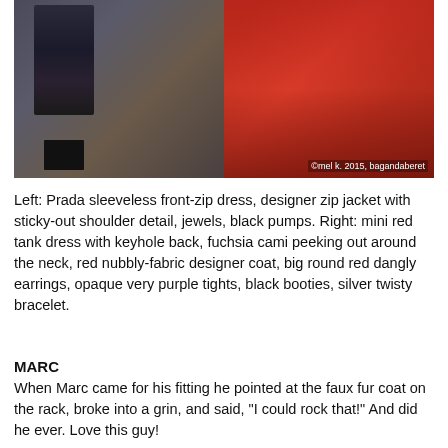[Figure (photo): Two-panel photo. Left: woman in dark navy/black sleeveless dress and zip jacket standing in a hallway with ornate carpet, wearing black pumps. Right: person in bright red mini tank dress with red nubbly-fabric coat, holding or adjusting the coat. Copyright watermark reads '©mel k. 2015, bagandaberet']
Left: Prada sleeveless front-zip dress, designer zip jacket with sticky-out shoulder detail, jewels, black pumps. Right: mini red tank dress with keyhole back, fuchsia cami peeking out around the neck, red nubbly-fabric designer coat, big round red dangly earrings, opaque very purple tights, black booties, silver twisty bracelet.
MARC
When Marc came for his fitting he pointed at the faux fur coat on the rack, broke into a grin, and said, "I could rock that!" And did he ever. Love this guy!